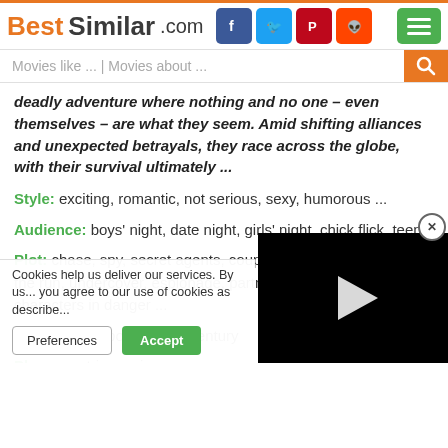BestSimilar.com
Movies like ... | Movies about ...
deadly adventure where nothing and no one – even themselves – are what they seem. Amid shifting alliances and unexpected betrayals, they race across the globe, with their survival ultimately ...
Style: exciting, romantic, not serious, sexy, humorous ...
Audience: boys' night, date night, girls' night, chick flick, teens
Plot: chase, spy, secret agents, couples, love and romance, on the run, undercover, espionage, partners, escapades, cia, characters in danger ...
Time: contemporary, 21st century
Place: austria, spain, usa, europe,
Cookies help us deliver our services. By us... you agree to our use of cookies as describe...
[Figure (screenshot): Video player overlay with black background and white play button triangle]